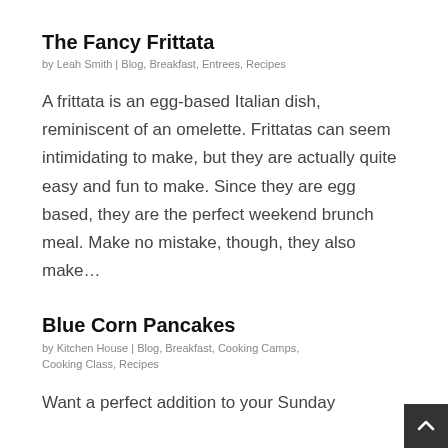The Fancy Frittata
by Leah Smith | Blog, Breakfast, Entrees, Recipes
A frittata is an egg-based Italian dish, reminiscent of an omelette. Frittatas can seem intimidating to make, but they are actually quite easy and fun to make. Since they are egg based, they are the perfect weekend brunch meal. Make no mistake, though, they also make…
Blue Corn Pancakes
by Kitchen House | Blog, Breakfast, Cooking Camps, Cooking Class, Recipes
Want a perfect addition to your Sunday